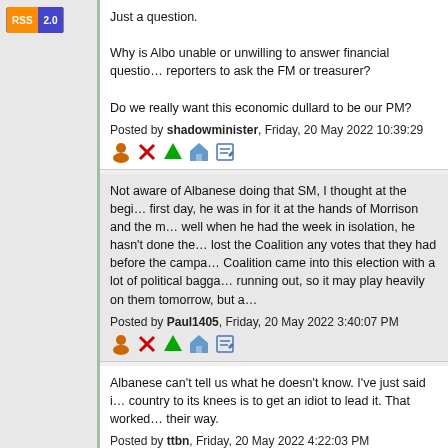[Figure (logo): RSS 2.0 badge with orange RSS label and blue 2.0 label]
Just a question.

Why is Albo unable or unwilling to answer financial questions, and directs reporters to ask the FM or treasurer?

Do we really want this economic dullard to be our PM?
Posted by shadowminister, Friday, 20 May 2022 10:39:29
Not aware of Albanese doing that SM, I thought at the beginning of the first day, he was in for it at the hands of Morrison and the m... well when he had the week in isolation, he hasn't done the... lost the Coalition any votes that they had before the campa... Coalition came into this election with a lot of political bagga... running out, so it may play heavily on them tomorrow, but a...
Posted by Paul1405, Friday, 20 May 2022 3:40:07 PM
Albanese can't tell us what he doesn't know. I've just said i... country to its knees is to get an idiot to lead it. That worked... their way.
Posted by ttbn, Friday, 20 May 2022 4:22:03 PM
Both leaders of the two major parties have had their...